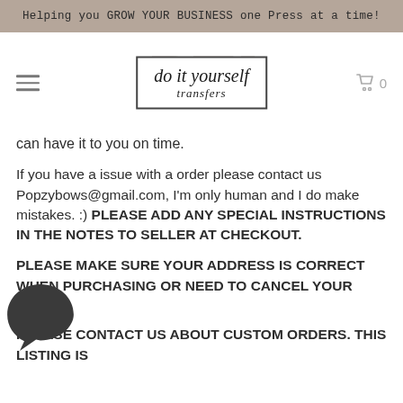Helping you GROW YOUR BUSINESS one Press at a time!
[Figure (logo): Do it Yourself Transfers logo with DIY watermark in background and script text inside a bordered rectangle]
can have it to you on time.
If you have a issue with a order please contact us Popzybows@gmail.com, I'm only human and I do make mistakes. :) PLEASE ADD ANY SPECIAL INSTRUCTIONS IN THE NOTES TO SELLER AT CHECKOUT.
PLEASE MAKE SURE YOUR ADDRESS IS CORRECT WHEN PURCHASING OR NEED TO CANCEL YOUR ORDER.
PLEASE CONTACT US ABOUT CUSTOM ORDERS. THIS LISTING IS